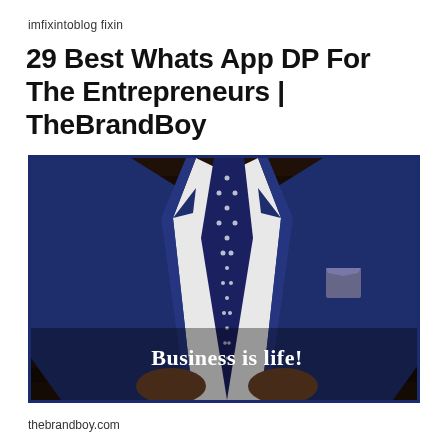imfixintoblog fixin
29 Best Whats App DP For The Entrepreneurs | TheBrandBoy
[Figure (photo): A man in a navy blue suit with a polka dot tie and matching pocket square, headless frame, with text overlay 'Business is life!']
thebrandboy.com